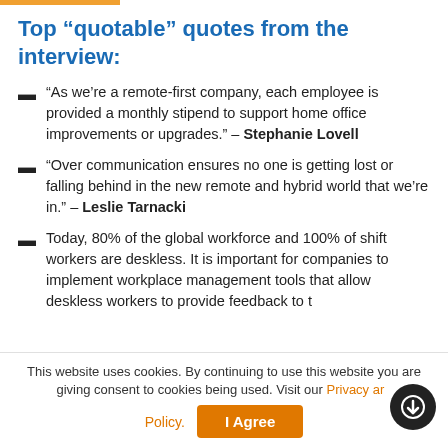Top “quotable” quotes from the interview:
“As we’re a remote-first company, each employee is provided a monthly stipend to support home office improvements or upgrades.” – Stephanie Lovell
“Over communication ensures no one is getting lost or falling behind in the new remote and hybrid world that we’re in.” – Leslie Tarnacki
Today, 80% of the global workforce and 100% of shift workers are deskless. It is important for companies to implement workplace management tools that allow deskless workers to provide feedback to...
This website uses cookies. By continuing to use this website you are giving consent to cookies being used. Visit our Privacy and Cookie Policy.  I Agree